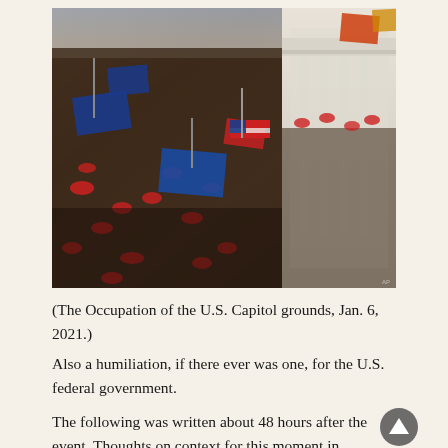[Figure (photo): Aerial/overhead view of a massive crowd occupying the U.S. Capitol grounds on January 6, 2021, with people wearing red hats, carrying flags including Trump flags, American flags, and blue flags, with the white Capitol building structure visible on the right side.]
(The Occupation of the U.S. Capitol grounds, Jan. 6, 2021.)
Also a humiliation, if there ever was one, for the U.S. federal government.
The following was written about 48 hours after the event. Thoughts on context for this moment in